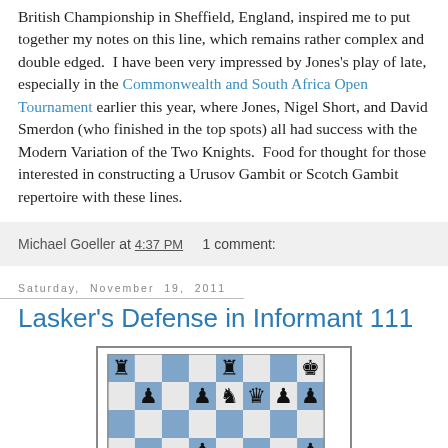British Championship in Sheffield, England, inspired me to put together my notes on this line, which remains rather complex and double edged. I have been very impressed by Jones's play of late, especially in the Commonwealth and South Africa Open Tournament earlier this year, where Jones, Nigel Short, and David Smerdon (who finished in the top spots) all had success with the Modern Variation of the Two Knights. Food for thought for those interested in constructing a Urusov Gambit or Scotch Gambit repertoire with these lines.
Michael Goeller at 4:37 PM   1 comment:
Saturday, November 19, 2011
Lasker's Defense in Informant 111
[Figure (illustration): Chess board diagram showing a position with black and white pieces including rooks, pawns, a knight, and kings on a blue and white checkered board.]